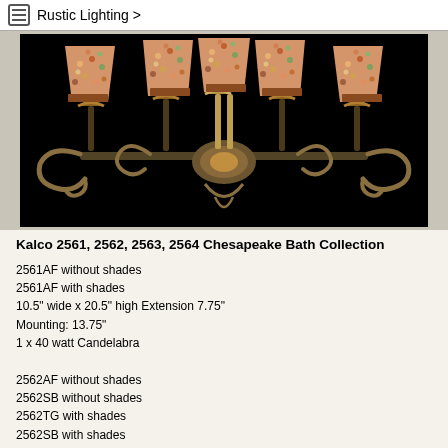Rustic Lighting >
[Figure (photo): Wall sconce lighting fixture with ornate scrollwork arms and decorative beaded bell shades, shown against black background. Multiple candelabra-style arms with multi-colored beaded shades.]
Kalco 2561, 2562, 2563, 2564 Chesapeake Bath Collection
2561AF without shades
2561AF with shades
10.5" wide x 20.5" high Extension 7.75"
Mounting: 13.75"
1 x 40 watt Candelabra

2562AF without shades
2562SB without shades
2562TG with shades
2562SB with shades
14.25" wide x 19.75" high Extension 8.75"
Mounting: 14.5"
2 x 40 watt Candelabra Finishes: Shown in Tuscan Gold
Shades: Shown in Multi-colored Beaded Bell